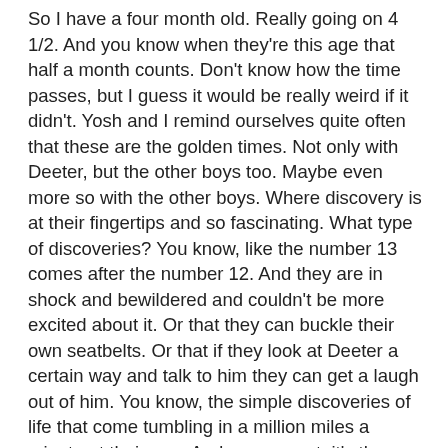So I have a four month old. Really going on 4 1/2. And you know when they're this age that half a month counts. Don't know how the time passes, but I guess it would be really weird if it didn't. Yosh and I remind ourselves quite often that these are the golden times. Not only with Deeter, but the other boys too. Maybe even more so with the other boys. Where discovery is at their fingertips and so fascinating. What type of discoveries? You know, like the number 13 comes after the number 12. And they are in shock and bewildered and couldn't be more excited about it. Or that they can buckle their own seatbelts. Or that if they look at Deeter a certain way and talk to him they can get a laugh out of him. You know, the simple discoveries of life that come tumbling in a million miles a minute at their age. And as a parent, it's the greatest to sit back and watch and be equally fascinated. Really just fascinated at their fascination. It's crazy. Anyway, these are the things that have been making us love life this last little bit.
Deeter and I ditched the boys a few weekends again and went to CO. I visited with my baby sister and her little girl and then my parents drove through town and we got to all go